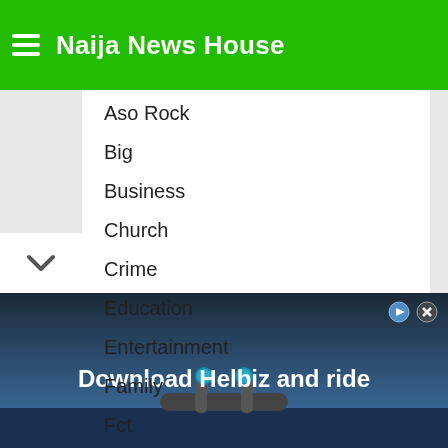Naija News House
Aso Rock
Big
Business
Church
Crime
Education
Entertainment
Family
Fct
Food
Foreign News
[Figure (photo): Advertisement banner showing a bicycle handlebar with text 'Download Helbiz and ride']